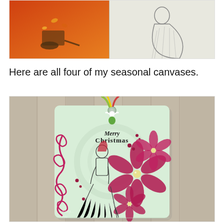[Figure (photo): Partial view of seasonal canvas artworks showing autumn and winter themed canvases - a wheelbarrow with fall leaves and an orange background on the left, and a woman in a white dress on the right]
Here are all four of my seasonal canvases.
[Figure (photo): A decorative Christmas gift tag hanging from colorful ribbons against a rustic wood plank background. The tag features a Merry Christmas inscription, a Santa Claus figure, and large pink/magenta poinsettia flowers with pink swirling scroll designs on the sides. The tag has a light green background with floral patterns.]